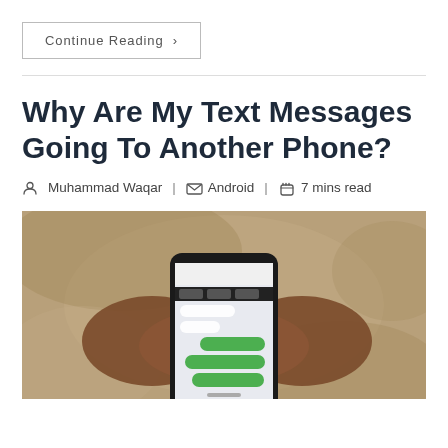Continue Reading ›
Why Are My Text Messages Going To Another Phone?
Muhammad Waqar | Android | 7 mins read
[Figure (photo): Person holding a smartphone with a messaging app open, showing green chat bubbles, sitting on a tan/khaki background]